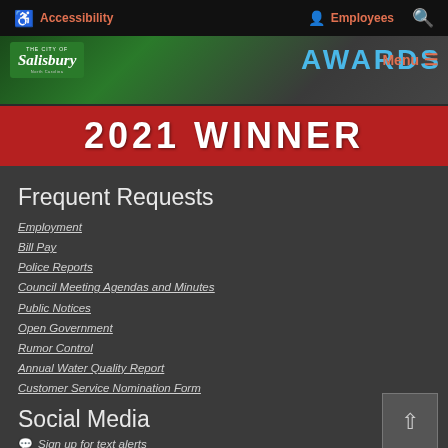Accessibility  Employees
[Figure (screenshot): City of Salisbury website banner with green Awards logo, red 2021 Winner banner, and navigation menu]
Frequent Requests
Employment
Bill Pay
Police Reports
Council Meeting Agendas and Minutes
Public Notices
Open Government
Rumor Control
Annual Water Quality Report
Customer Service Nomination Form
Social Media
Sign up for text alerts